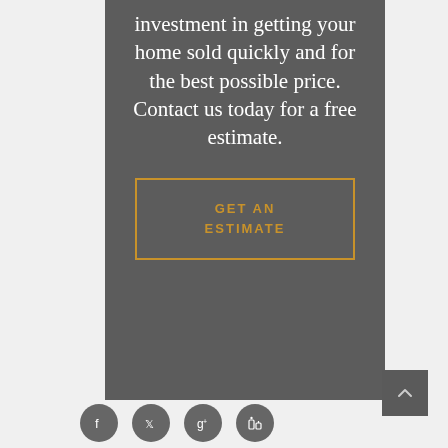investment in getting your home sold quickly and for the best possible price. Contact us today for a free estimate.
[Figure (other): CTA button with gold border reading GET AN ESTIMATE in gold uppercase letters on dark gray background]
[Figure (other): Small dark gray scroll-to-top button with upward arrow icon]
[Figure (other): Row of four circular dark gray social media icons: Facebook, X/Twitter, Google+, LinkedIn]